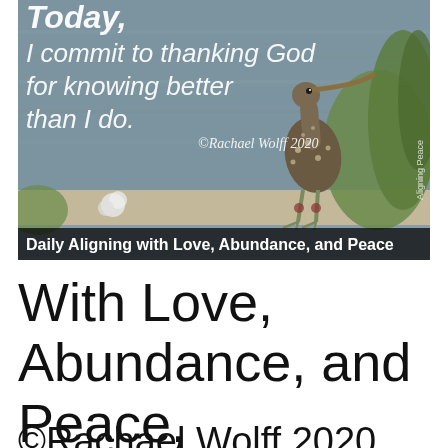[Figure (photo): A bird (limpkin) standing near water with green grass/reeds, overlaid with white italic text reading 'Today, I commit to thanking God for knowing better than I do. ©Rachael Wolff 2020' and a dark bottom bar with bold white text 'Daily Aligning with Love, Abundance, and Peace'. Vertical rotated text on right side reads 'Aligning Peace'.]
With Love, Abundance, and Peace,
©Rachael Wolff 2020